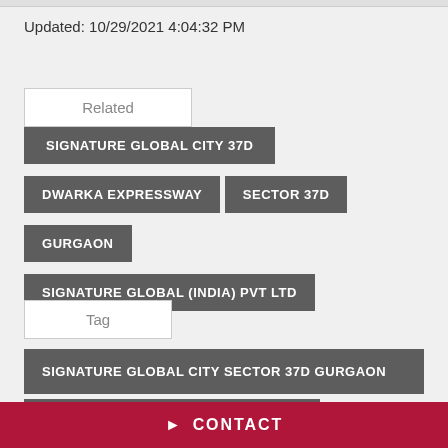Updated: 10/29/2021 4:04:32 PM
Related
SIGNATURE GLOBAL CITY 37D
DWARKA EXPRESSWAY
SECTOR 37D
GURGAON
SIGNATURE GLOBAL (INDIA) PVT LTD
Tag
SIGNATURE GLOBAL CITY SECTOR 37D GURGAON
SIGNATURE GLOBAL CITY 37D REVIEW
CONTACT